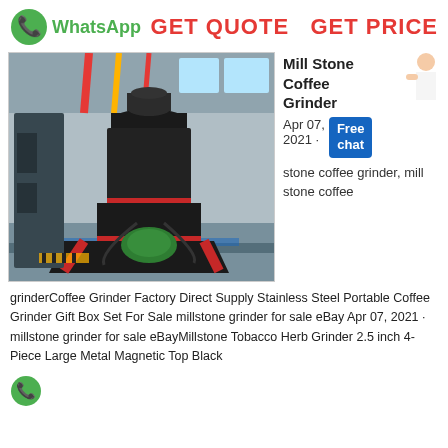[Figure (logo): WhatsApp green phone icon logo]
WhatsApp
GET QUOTE   GET PRICE
[Figure (photo): Large industrial mill stone grinder machine in a factory, dark metal body with red accents on base, green motor visible at bottom, factory hall background with yellow and red banners]
Mill Stone Coffee Grinder
Apr 07, 2021 ·
[Figure (other): Free chat badge button in blue]
stone coffee grinder, mill stone coffee
grinderCoffee Grinder Factory Direct Supply Stainless Steel Portable Coffee Grinder Gift Box Set For Sale millstone grinder for sale eBay Apr 07, 2021 · millstone grinder for sale eBayMillstone Tobacco Herb Grinder 2.5 inch 4-Piece Large Metal Magnetic Top Black
[Figure (logo): WhatsApp green phone icon logo at bottom]